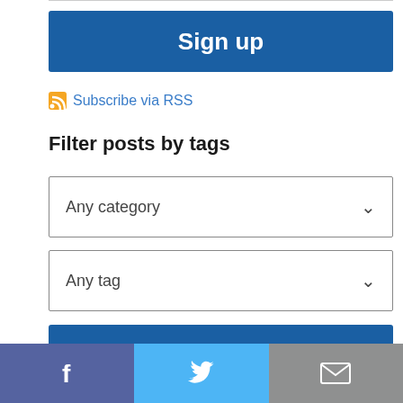[Figure (other): Sign up button — large dark blue rectangular button with white bold text 'Sign up']
Subscribe via RSS
Filter posts by tags
[Figure (other): Dropdown selector showing 'Any category' with chevron]
[Figure (other): Dropdown selector showing 'Any tag' with chevron]
[Figure (other): Show posts button — large dark blue rectangular button with white bold text 'Show posts']
[Figure (other): Social sharing bar with three sections: Facebook (purple), Twitter (blue), Email (grey)]